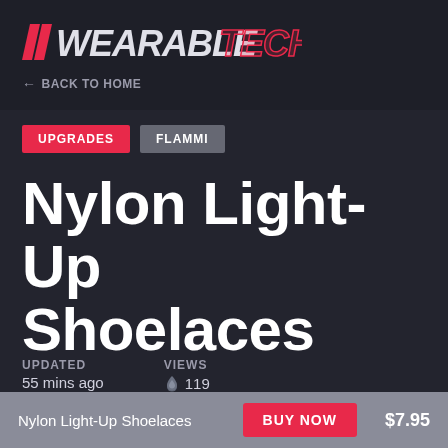[Figure (logo): WearableTech logo with double slash marks and italic bold styling, WEARABLE in white/gray and TECH in red/pink]
← BACK TO HOME
UPGRADES
FLAMMI
Nylon Light-Up Shoelaces
UPDATED
55 mins ago
VIEWS
🔥 119
Nylon Light-Up Shoelaces   BUY NOW   $7.95